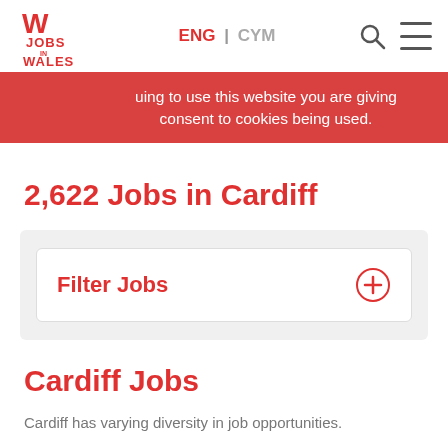[Figure (logo): Jobs in Wales logo with red W and text JOBS IN WALES]
ENG | CYM
...uing to use this website you are giving consent to cookies being used.
2,622 Jobs in Cardiff
Filter Jobs
Cardiff Jobs
Cardiff has varying diversity in job opportunities.